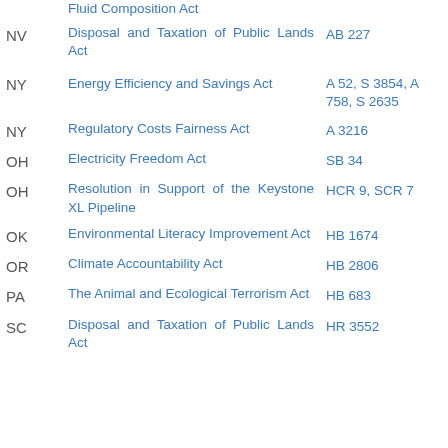| State | Bill Name | Bill Number |
| --- | --- | --- |
|  | Fluid Composition Act |  |
| NV | Disposal and Taxation of Public Lands Act | AB 227 |
| NY | Energy Efficiency and Savings Act | A 52, S 3854, A 758, S 2635 |
| NY | Regulatory Costs Fairness Act | A 3216 |
| OH | Electricity Freedom Act | SB 34 |
| OH | Resolution in Support of the Keystone XL Pipeline | HCR 9, SCR 7 |
| OK | Environmental Literacy Improvement Act | HB 1674 |
| OR | Climate Accountability Act | HB 2806 |
| PA | The Animal and Ecological Terrorism Act | HB 683 |
| SC | Disposal and Taxation of Public Lands Act | HR 3552 |